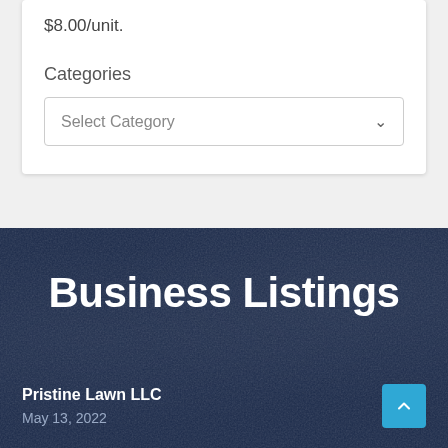$8.00/unit.
Categories
Select Category
Business Listings
Pristine Lawn LLC
May 13, 2022